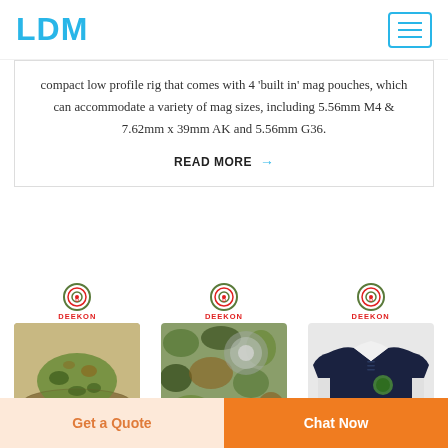LDM
compact low profile rig that comes with 4 'built in' mag pouches, which can accommodate a variety of mag sizes, including 5.56mm M4 & 7.62mm x 39mm AK and 5.56mm G36.
READ MORE →
[Figure (photo): Three product images showing: a camouflage boonie hat, camouflage fabric/jacket, and a dark navy polo shirt with emblem. Each has a DEEKON logo above it.]
Get a Quote
Chat Now